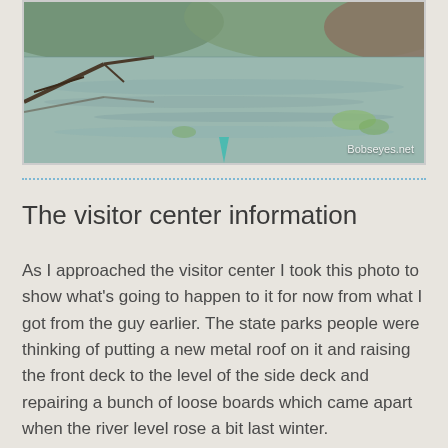[Figure (photo): A photograph of a calm river or lake with reflections on the water surface, fallen tree branches in the foreground, green vegetation, hills in the background, and the tip of a kayak visible at bottom center. Watermark reads 'Bobseyes.net'.]
The visitor center information
As I approached the visitor center I took this photo to show what's going to happen to it for now from what I got from the guy earlier. The state parks people were thinking of putting a new metal roof on it and raising the front deck to the level of the side deck and repairing a bunch of loose boards which came apart when the river level rose a bit last winter.